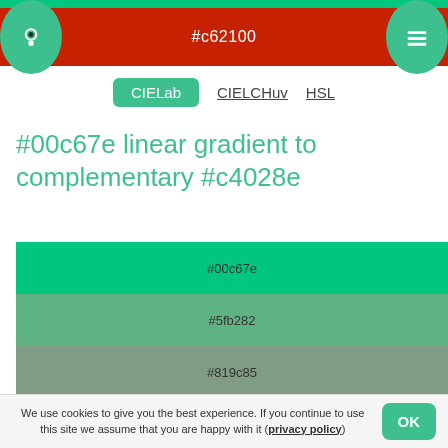#c62100
CIELab  CIELCHuv  HSL
#00c67e linear gradient to complementary #c4028e
[Figure (infographic): Linear gradient color swatches from #00c67e (green) to #c4028e (pink/magenta), showing 7 steps: #00c67e, #5fb282, #819c85, #988588, #aa6b8a, #b84a8c, #c4028e]
We use cookies to give you the best experience. If you continue to use this site we assume that you are happy with it (privacy policy)